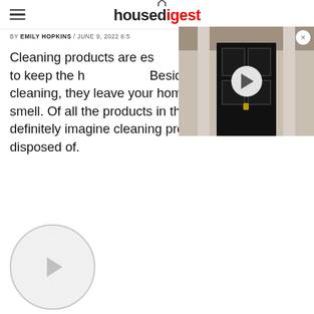housedigest
BY EMILY HOPKINS / JUNE 9, 2022 6:5...
[Figure (screenshot): Video thumbnail showing a black front door with white columns and a play button overlay]
Cleaning products are essential in every household to keep the ho... Besides doing their job of cleaning, they leave your home with a refreshing smell. Of all the products in the house, you would definitely imagine cleaning products cannot be disposed of.
[Figure (screenshot): Circular video player button with play triangle icon]